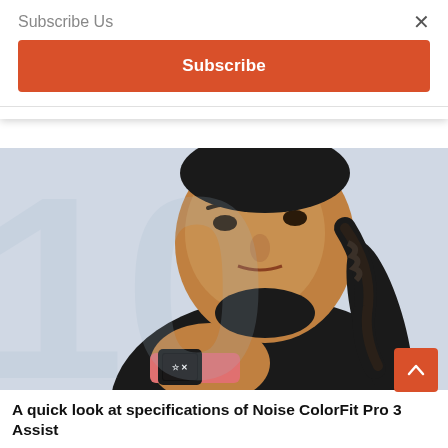Subscribe Us
×
Subscribe
[Figure (photo): A woman wearing a black turtleneck top with braided hair, looking intensely at the camera, showing a smartwatch on her wrist. A large watermark number '10' is visible in the background.]
A quick look at specifications of Noise ColorFit Pro 3 Assist